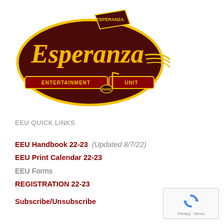[Figure (logo): Esperanza Entertainment Unit Band logo — circular dark maroon background with stylized yellow/red script 'Esperanza' text, musical note, and banner reading 'Entertainment Unit Band']
EEU QUICK LINKS
EEU Handbook 22-23  (Updated 8/7/22)
EEU Print Calendar 22-23
EEU Forms
REGISTRATION 22-23
Subscribe/Unsubscribe
[Figure (other): reCAPTCHA widget box showing recaptcha icon with 'Privacy · Terms' label]